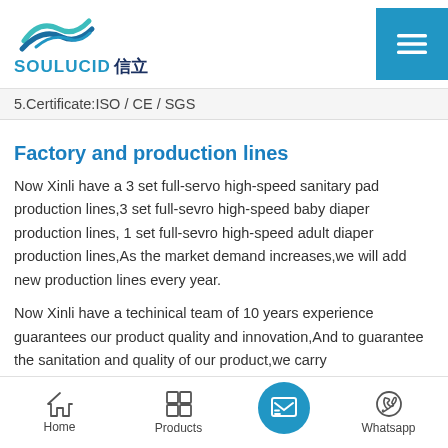[Figure (logo): SOULUCID 信立 company logo with stylized wave/mountain graphic in blue teal]
5.Certificate:ISO / CE / SGS
Factory and production lines
Now Xinli have a 3 set full-servo high-speed sanitary pad production lines,3 set full-sevro high-speed baby diaper production lines, 1 set full-sevro high-speed adult diaper production lines,As the market demand increases,we will add new production lines every year.
Now Xinli have a techinical team of 10 years experience guarantees our product quality and innovation,And to guarantee the sanitation and quality of our product,we carry
Home   Products   [Inquiry]   Whatsapp